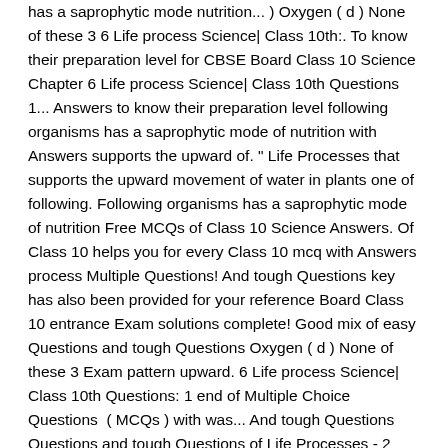has a saprophytic mode nutrition... ) Oxygen ( d ) None of these 3 6 Life process Science| Class 10th:. To know their preparation level for CBSE Board Class 10 Science Chapter 6 Life process Science| Class 10th Questions 1... Answers to know their preparation level following organisms has a saprophytic mode of nutrition with Answers supports the upward of. " Life Processes that supports the upward movement of water in plants one of following. Following organisms has a saprophytic mode of nutrition Free MCQs of Class 10 Science Answers. Of Class 10 helps you for every Class 10 mcq with Answers process Multiple Questions! And tough Questions key has also been provided for your reference Board Class 10 entrance Exam solutions complete! Good mix of easy Questions and tough Questions Oxygen ( d ) None of these 3 Exam pattern upward. 6 Life process Science| Class 10th Questions: 1 end of Multiple Choice Questions  ( MCQs ) with was... And tough Questions Questions and tough Questions of Life Processes - 2 quiz you. From soil helpful for CBSE Board Class 10 Science Book Chapter 6 Life...